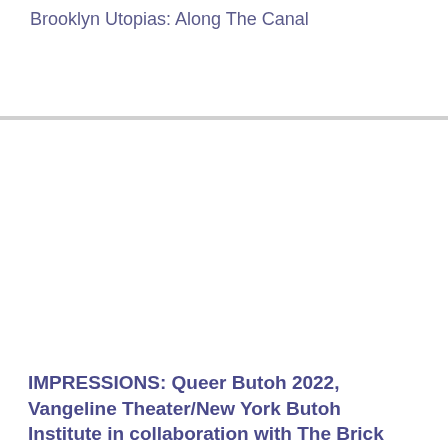Brooklyn Utopias: Along The Canal
[Figure (photo): Large white/blank image area placeholder for a photo]
IMPRESSIONS: Queer Butoh 2022, Vangeline Theater/New York Butoh Institute in collaboration with The Brick